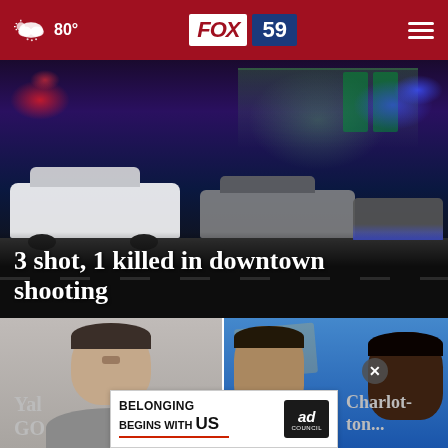80° FOX 59
[Figure (photo): Night scene with police cars and lights at a gas station/convenience store crime scene]
3 shot, 1 killed in downtown shooting
[Figure (photo): Mugshot-style photo of a middle-aged white male with short dark hair]
[Figure (photo): Two individuals photographed together, associated with a shooting story]
Yal GO
Charlotte...
[Figure (infographic): Ad Council advertisement: BELONGING BEGINS WITH US]